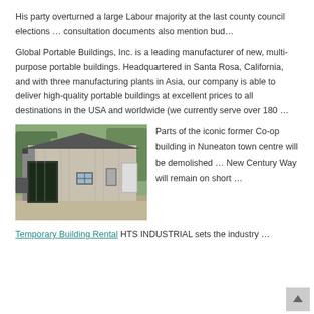His party overturned a large Labour majority at the last county council elections … consultation documents also mention bud…
Global Portable Buildings, Inc. is a leading manufacturer of new, multi-purpose portable buildings. Headquartered in Santa Rosa, California, and with three manufacturing plants in Asia, our company is able to deliver high-quality portable buildings at excellent prices to all destinations in the USA and worldwide (we currently serve over 180 …
[Figure (photo): Photo of a portable metal building/shed with open front doors, parked on a gravel surface with trees in the background.]
Parts of the iconic former Co-op building in Nuneaton town centre will be demolished … New Century Way will remain on short …
Temporary Building Rental HTS INDUSTRIAL sets the industry …